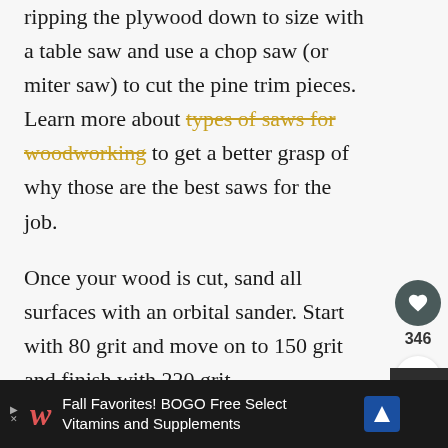ripping the plywood down to size with a table saw and use a chop saw (or miter saw) to cut the pine trim pieces. Learn more about types of saws for woodworking to get a better grasp of why those are the best saws for the job.
Once your wood is cut, sand all surfaces with an orbital sander. Start with 80 grit and move on to 150 grit and finish with 220 grit.
[Figure (other): Heart/save button (dark teal circle with heart icon), like count 346, and share button (white circle with share icon)]
[Figure (other): WHAT'S NEXT panel with thumbnail image and title 'DIY Framed Yarn...']
[Figure (other): Advertisement bar: Walgreens ad - Fall Favorites! BOGO Free Select Vitamins and Supplements, with navigation arrow icon and M logo on right]